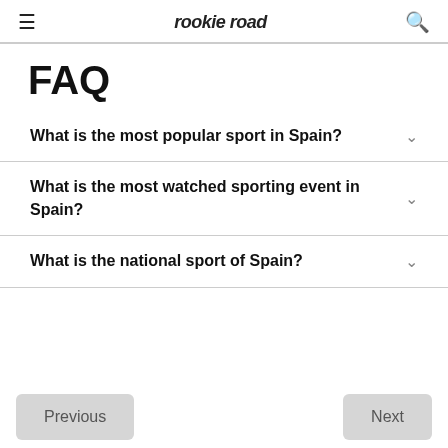rookie road
FAQ
What is the most popular sport in Spain?
What is the most watched sporting event in Spain?
What is the national sport of Spain?
Previous  Next